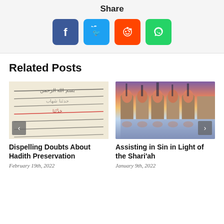Share
[Figure (infographic): Social share buttons: Facebook (blue), Twitter (light blue), Reddit (orange), WhatsApp (green)]
Related Posts
[Figure (photo): Arabic manuscript text with handwritten script in black and red ink]
Dispelling Doubts About Hadith Preservation
February 19th, 2022
[Figure (photo): Architectural arches reflected in water with city skyline at dusk/twilight]
Assisting in Sin in Light of the Shari'ah
January 9th, 2022